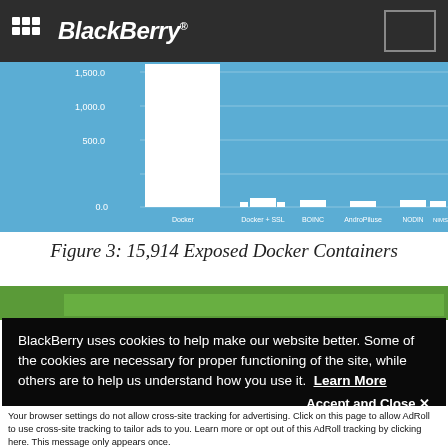BlackBerry®
[Figure (bar-chart): Partial bar chart showing container exposure data with Docker having the tallest bar (~1500+), followed by much smaller bars for Docker + SSL, BOINC, AndroPiluse, NODIN, NIMS, OpenCMS, and others. Y-axis shows values 0, 500.0, 1000.0, 1,500.0.]
Figure 3: 15,914 Exposed Docker Containers
BlackBerry uses cookies to help make our website better. Some of the cookies are necessary for proper functioning of the site, while others are to help us understand how you use it. Learn More
Accept and Close ✕
Your browser settings do not allow cross-site tracking for advertising. Click on this page to allow AdRoll to use cross-site tracking to tailor ads to you. Learn more or opt out of this AdRoll tracking by clicking here. This message only appears once.